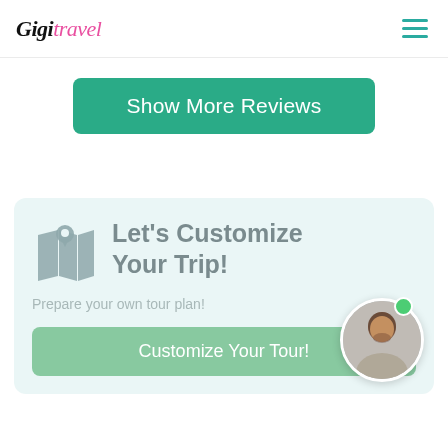Gigit Travel
Show More Reviews
[Figure (infographic): Let's Customize Your Trip! section with map icon, subtitle 'Prepare your own tour plan!', green Customize Your Tour button, and a circular avatar photo of a man with a green online dot.]